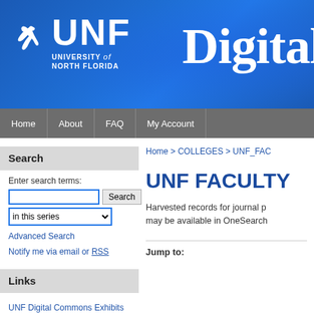[Figure (logo): University of North Florida logo with osprey bird and UNF text, alongside 'Digital' header text on blue gradient banner]
Home | About | FAQ | My Account
Search
Enter search terms:
in this series
Advanced Search
Notify me via email or RSS
Links
UNF Digital Commons Exhibits
Thomas G. Carpenter Library
Home > COLLEGES > UNF_FAC
UNF FACULTY
Harvested records for journal p may be available in OneSearch
Jump to: